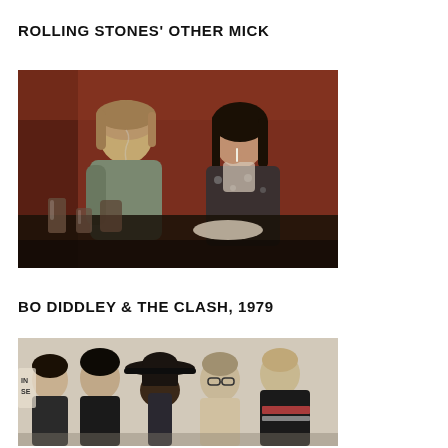ROLLING STONES' OTHER MICK
[Figure (photo): Two people seated at a table in a restaurant with red decor, drinks and food on the table. One person has light hair and a grey-green jacket, the other has dark hair and a patterned top.]
BO DIDDLEY & THE CLASH, 1979
[Figure (photo): Group of five people posing together, one wearing a wide-brimmed hat, against a light-colored wall. Black and white or slightly washed-out color photo.]